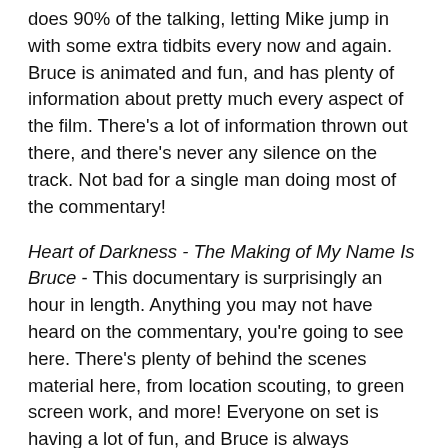does 90% of the talking, letting Mike jump in with some extra tidbits every now and again. Bruce is animated and fun, and has plenty of information about pretty much every aspect of the film. There's a lot of information thrown out there, and there's never any silence on the track. Not bad for a single man doing most of the commentary!
Heart of Darkness - The Making of My Name Is Bruce - This documentary is surprisingly an hour in length. Anything you may not have heard on the commentary, you're going to see here. There's plenty of behind the scenes material here, from location scouting, to green screen work, and more! Everyone on set is having a lot of fun, and Bruce is always entertainingly witty.
Bruce On.../Awkward Moments with "Kif" - These two featurettes are only a few minutes in length, and are really just funny moments from behind the scenes that were caught on camera. Bruce waxes philosophical on numerous subjects, such as DVD extras, rap, and the budget. "Kif" is caught talking his way into a couple of awkward moments with other crew